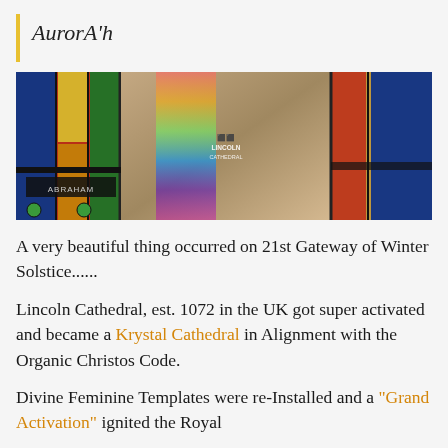AurorAh
[Figure (photo): Stained glass windows of Lincoln Cathedral with rainbow light effects and 'Lincoln Cathedral' watermark overlay]
A very beautiful thing occurred on 21st Gateway of Winter Solstice......
Lincoln Cathedral, est. 1072 in the UK got super activated and became a Krystal Cathedral in Alignment with the Organic Christos Code.
Divine Feminine Templates were re-Installed and a "Grand Activation" ignited the Royal